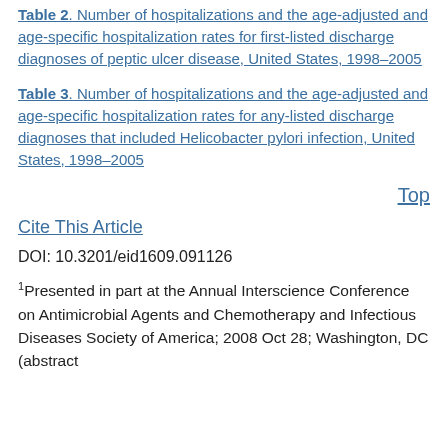Table 2. Number of hospitalizations and the age-adjusted and age-specific hospitalization rates for first-listed discharge diagnoses of peptic ulcer disease, United States, 1998–2005
Table 3. Number of hospitalizations and the age-adjusted and age-specific hospitalization rates for any-listed discharge diagnoses that included Helicobacter pylori infection, United States, 1998–2005
Top
Cite This Article
DOI: 10.3201/eid1609.091126
1Presented in part at the Annual Interscience Conference on Antimicrobial Agents and Chemotherapy and Infectious Diseases Society of America; 2008 Oct 28; Washington, DC (abstract